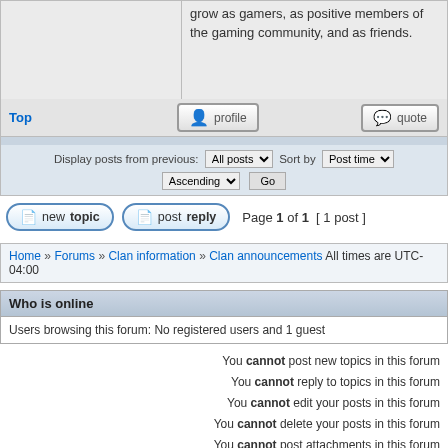grow as gamers, as positive members of the gaming community, and as friends.
Top
profile
quote
Display posts from previous: All posts Sort by Post time Ascending Go
new topic   post reply   Page 1 of 1  [ 1 post ]
Home » Forums » Clan information » Clan announcements All times are UTC-04:00
Who is online
Users browsing this forum: No registered users and 1 guest
You cannot post new topics in this forum
You cannot reply to topics in this forum
You cannot edit your posts in this forum
You cannot delete your posts in this forum
You cannot post attachments in this forum
Search for:
Jump to: Clan announcements Go
Powered by phpBB® Forum Software © phpBB Limited